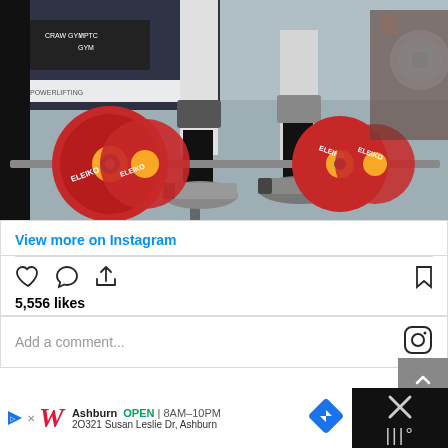[Figure (photo): A powerlifting competition scene showing a barbell with large red and yellow Eleiko weight plates on the floor. The lifter's legs in black knee sleeves and black socks with sneakers are visible. Background shows a competition venue with PTC Gym signage.]
View more on Instagram
[Figure (other): Instagram action icons: heart (like), speech bubble (comment), share arrow, and bookmark icon]
5,556 likes
Add a comment...
[Figure (logo): Instagram camera logo icon]
Ashburn  OPEN | 8AM–10PM  2O321 Susan Leslie Dr, Ashburn
[Figure (logo): Walgreens W logo and navigation direction diamond icon]
[Figure (other): Ad close button area with X symbol on dark background]